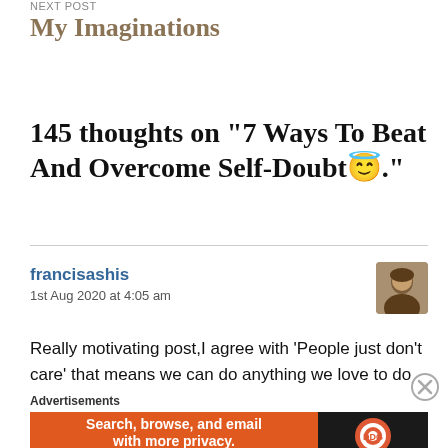NEXT POST
My Imaginations
145 thoughts on “7 Ways To Beat And Overcome Self-Doubt😇.”
francisashis
1st Aug 2020 at 4:05 am
Really motivating post,I agree with ‘People just don’t care’ that means we can do anything we love to do
Advertisements
[Figure (other): DuckDuckGo advertisement banner: Search, browse, and email with more privacy. All in One Free App. DuckDuckGo logo on dark background.]